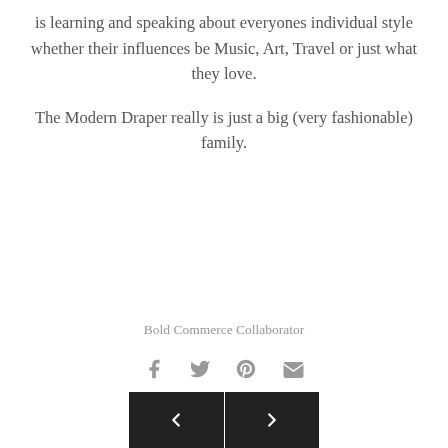is learning and speaking about everyones individual style whether their influences be Music, Art, Travel or just what they love.
The Modern Draper really is just a big (very fashionable) family.
Bold Commerce Collaborator
[Figure (other): Social share icons: Facebook, Twitter, Pinterest, Email]
[Figure (other): Navigation buttons: previous (left arrow) and next (right arrow)]